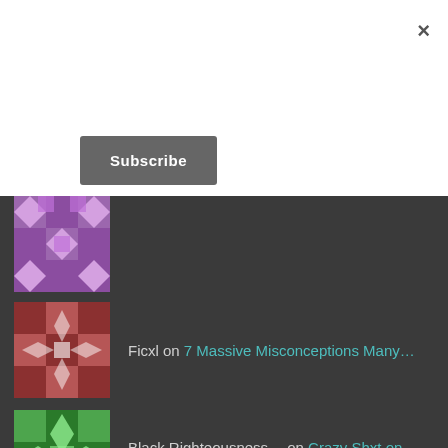×
Subscribe
Ficxl on 7 Massive Misconceptions Many…
Black Righteousness… on Crazy Shxt on Facebook
lordrakim on Crazy Shxt on Facebook
Lashunda Bailes on Crazy Shxt on Facebook
Recent Posts